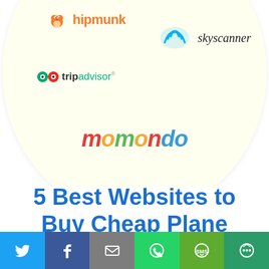[Figure (illustration): Circular light yellow graphic showing logos of travel websites: hipmunk, skyscanner, tripadvisor, momondo]
5 Best Websites to Buy Cheap Plane Tickets & Flights -2022
[Figure (infographic): Social share bar with Twitter, Facebook, Email, WhatsApp, SMS, and More buttons]